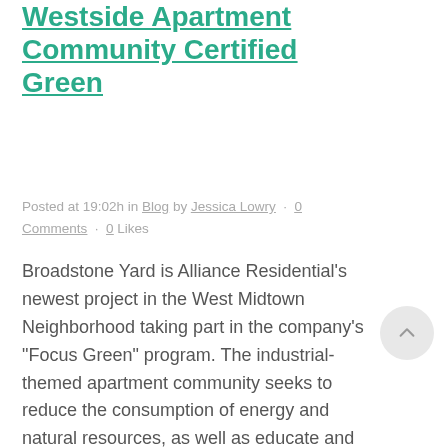Westside Apartment Community Certified Green
Posted at 19:02h in Blog by Jessica Lowry · 0 Comments · 0 Likes
Broadstone Yard is Alliance Residential's newest project in the West Midtown Neighborhood taking part in the company's "Focus Green" program. The industrial-themed apartment community seeks to reduce the consumption of energy and natural resources, as well as educate and encourage residents to participate in eco-friendly...